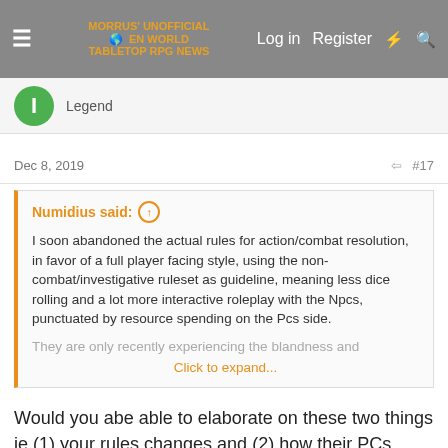Morrus' Unofficial Tabletop RPG News — Log in  Register
Legend
Dec 8, 2019   #17
Numidius said:
I soon abandoned the actual rules for action/combat resolution, in favor of a full player facing style, using the non-combat/investigative ruleset as guideline, meaning less dice rolling and a lot more interactive roleplay with the Npcs, punctuated by resource spending on the Pcs side.

They are only recently experiencing the blandness and
Click to expand...
Would you abe able to elaborate on these two things ie (1) your rules changes and (2) how their PCs have revealed themselves to be bland and ineffective?
The only CoC I've played recently is Cthulhu Dark, which